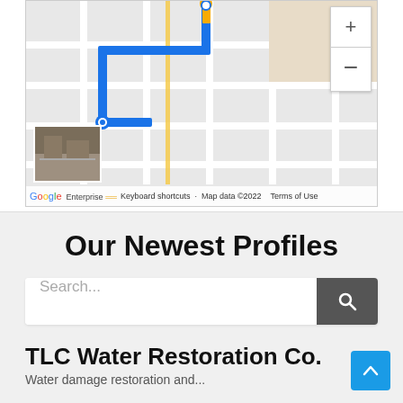[Figure (map): Google Maps embed showing a route with blue/orange directions markers, street grid, with zoom controls on the right side and a street view thumbnail in the lower left. Footer shows Google Enterprise logo, keyboard shortcuts, map data ©2022, and Terms of Use.]
Our Newest Profiles
[Figure (screenshot): Search input bar with placeholder text 'Search...' and a dark grey search button with magnifying glass icon on the right.]
TLC Water Restoration Co.
Water damage restoration and...